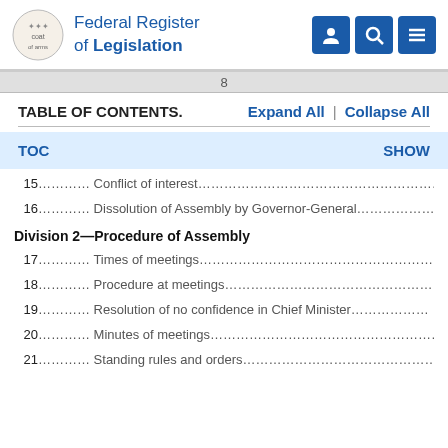Federal Register of Legislation
8
TABLE OF CONTENTS.
Expand All | Collapse All
TOC   SHOW
15.......... Conflict of interest........................................................
16.......... Dissolution of Assembly by Governor-General...............
Division 2—Procedure of Assembly
17.......... Times of meetings...........................................................
18.......... Procedure at meetings.......................................................
19.......... Resolution of no confidence in Chief Minister.................
20.......... Minutes of meetings.........................................................
21.......... Standing rules and orders...............................................